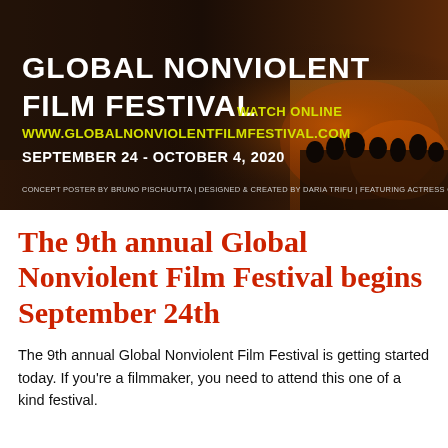[Figure (photo): Film festival promotional poster with dark cinematic background showing a person and crowd silhouettes with fire. Large white bold text reads 'GLOBAL NONVIOLENT FILM FESTIVAL' with 'WATCH ONLINE' in yellow, website URL in yellow 'WWW.GLOBALNONVIOLENTFILMFESTIVAL.COM', dates 'SEPTEMBER 24 - OCTOBER 4, 2020' in white, and small credits text at bottom.]
The 9th annual Global Nonviolent Film Festival begins September 24th
The 9th annual Global Nonviolent Film Festival is getting started today. If you're a filmmaker, you need to attend this one of a kind festival.